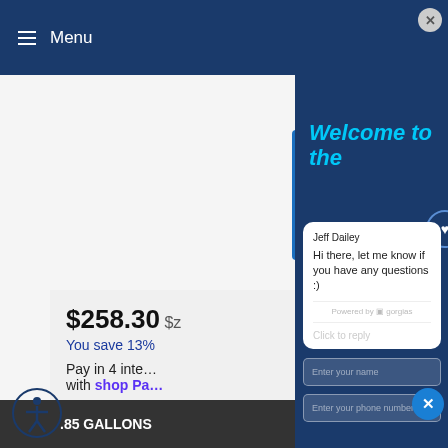≡ Menu
$258.30 $z
You save 13%
Pay in 4 inte… with shop Pay
FINANCING OPT…
FINISH
CHROME | OIL RUBBED
.85 GALLONS
[Figure (screenshot): Chat widget overlay with dark blue background showing 'Welcome to the' title in cyan italic, a white chat card with agent 'Jeff Dailey' saying 'Hi there, let me know if you have any questions :)', powered by gorgias footer, reply input, name and phone fields, and a blue dismiss X button.]
Jeff Dailey
Hi there, let me know if you have any questions :)
Powered by gorgias
Click to reply
Enter your name
Enter your phone number